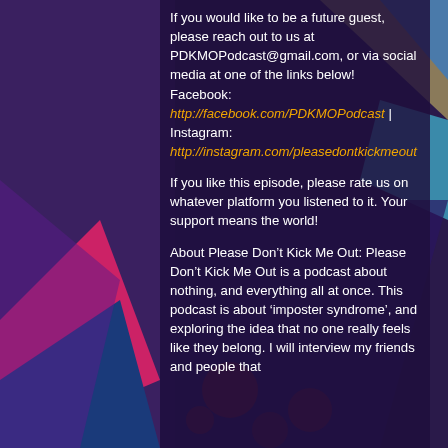If you would like to be a future guest, please reach out to us at PDKMOPodcast@gmail.com, or via social media at one of the links below! Facebook: http://facebook.com/PDKMOPodcast | Instagram: http://instagram.com/pleasedontkickmeout
If you like this episode, please rate us on whatever platform you listened to it. Your support means the world!
About Please Don't Kick Me Out: Please Don't Kick Me Out is a podcast about nothing, and everything all at once. This podcast is about 'imposter syndrome', and exploring the idea that no one really feels like they belong. I will interview my friends and people that